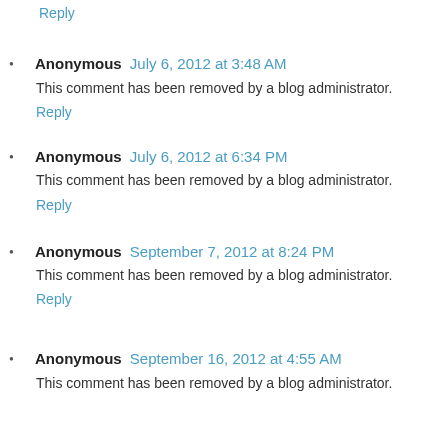Reply
Anonymous  July 6, 2012 at 3:48 AM
This comment has been removed by a blog administrator.
Reply
Anonymous  July 6, 2012 at 6:34 PM
This comment has been removed by a blog administrator.
Reply
Anonymous  September 7, 2012 at 8:24 PM
This comment has been removed by a blog administrator.
Reply
Anonymous  September 16, 2012 at 4:55 AM
This comment has been removed by a blog administrator.